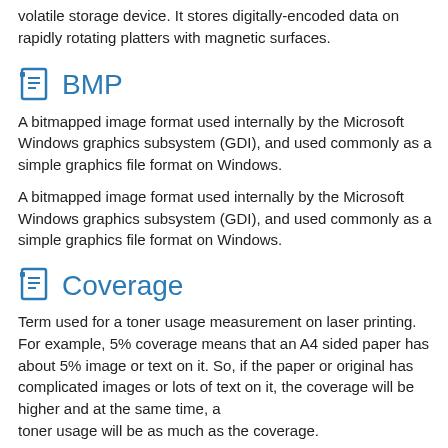volatile storage device. It stores digitally-encoded data on rapidly rotating platters with magnetic surfaces.
BMP
A bitmapped image format used internally by the Microsoft Windows graphics subsystem (GDI), and used commonly as a simple graphics file format on Windows.
A bitmapped image format used internally by the Microsoft Windows graphics subsystem (GDI), and used commonly as a simple graphics file format on Windows.
Coverage
Term used for a toner usage measurement on laser printing. For example, 5% coverage means that an A4 sided paper has about 5% image or text on it. So, if the paper or original has complicated images or lots of text on it, the coverage will be higher and at the same time, a
toner usage will be as much as the coverage.
Term used for a toner usage measurement on laser printing. For